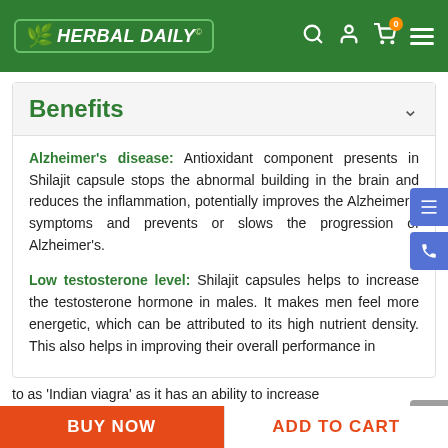Herbal Daily
Benefits
Alzheimer's disease: Antioxidant component presents in Shilajit capsule stops the abnormal building in the brain and reduces the inflammation, potentially improves the Alzheimer's symptoms and prevents or slows the progression of Alzheimer's.
Low testosterone level: Shilajit capsules helps to increase the testosterone hormone in males. It makes men feel more energetic, which can be attributed to its high nutrient density. This also helps in improving their overall performance in
to as 'Indian viagra' as it has an ability to increase